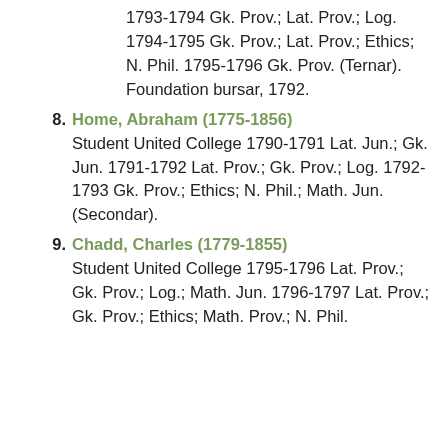1793-1794 Gk. Prov.; Lat. Prov.; Log. 1794-1795 Gk. Prov.; Lat. Prov.; Ethics; N. Phil. 1795-1796 Gk. Prov. (Ternar). Foundation bursar, 1792.
8. Home, Abraham (1775-1856) Student United College 1790-1791 Lat. Jun.; Gk. Jun. 1791-1792 Lat. Prov.; Gk. Prov.; Log. 1792-1793 Gk. Prov.; Ethics; N. Phil.; Math. Jun. (Secondar).
9. Chadd, Charles (1779-1855) Student United College 1795-1796 Lat. Prov.; Gk. Prov.; Log.; Math. Jun. 1796-1797 Lat. Prov.; Gk. Prov.; Ethics; Math. Prov.; N. Phil.